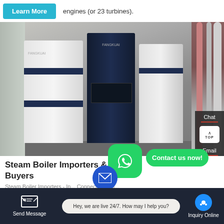engines (or 23 turbines).
[Figure (photo): Industrial steam boilers in a factory/warehouse setting. Two large white/gray vertical boiler units with dark navy blue stripes and one dark navy center unit. Industrial pipes visible on the right side.]
Steam Boiler Importers & Buyers
Steam Boiler Importers - In... Connect with M...
Send Message | Hey, we are live 24/7. How may I help you? | Inquiry Online